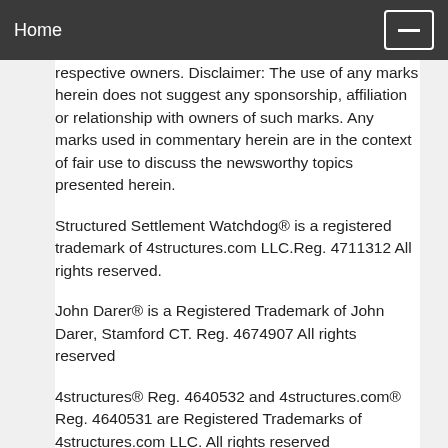Home
respective owners. Disclaimer: The use of any marks herein does not suggest any sponsorship, affiliation or relationship with owners of such marks. Any marks used in commentary herein are in the context of fair use to discuss the newsworthy topics presented herein.
Structured Settlement Watchdog® is a registered trademark of 4structures.com LLC.Reg. 4711312 All rights reserved.
John Darer® is a Registered Trademark of John Darer, Stamford CT. Reg. 4674907 All rights reserved
4structures® Reg. 4640532 and 4structures.com® Reg. 4640531 are Registered Trademarks of 4structures.com LLC. All rights reserved
Structured Settlements 4Real® is a Registered trademark of 4structures.com LLC Reg.4345946 All rights reserved.